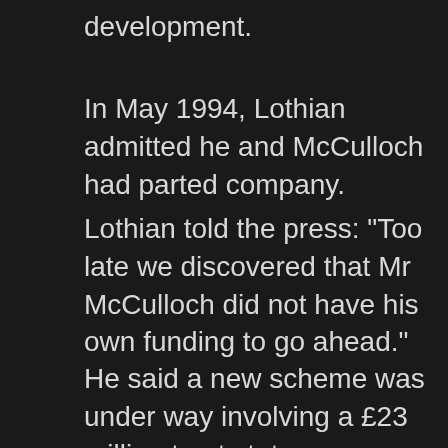development.
In May 1994, Lothian admitted he and McCulloch had parted company.
Lothian told the press: "Too late we discovered that Mr McCulloch did not have his own funding to go ahead."
He said a new scheme was under way involving a £23 million trust status development of Barnbarroch as a national museum and educational centre with residential accommodation provided by 200